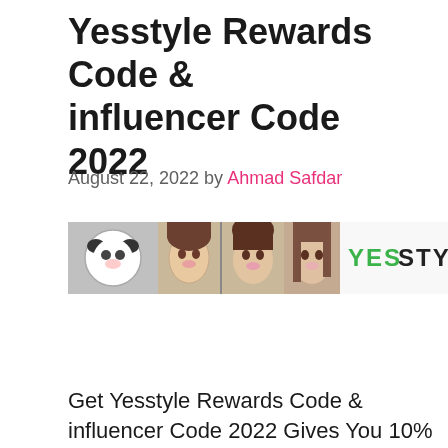Yesstyle Rewards Code & influencer Code 2022
August 22, 2022 by Ahmad Safdar
[Figure (photo): YesStyle banner image showing multiple women with Korean fashion styles and the YesStyle logo on the right]
Get Yesstyle Rewards Code & influencer Code 2022 Gives You 10% Off On Your